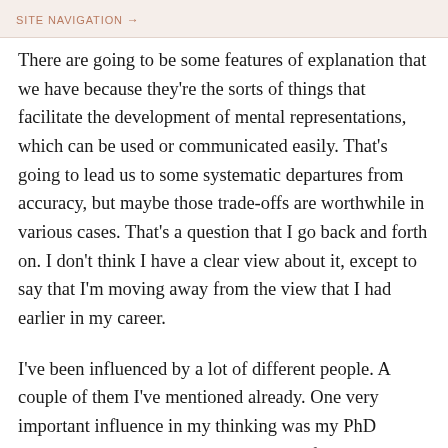SITE NAVIGATION →
There are going to be some features of explanation that we have because they're the sorts of things that facilitate the development of mental representations, which can be used or communicated easily. That's going to lead us to some systematic departures from accuracy, but maybe those trade-offs are worthwhile in various cases. That's a question that I go back and forth on. I don't think I have a clear view about it, except to say that I'm moving away from the view that I had earlier in my career.
I've been influenced by a lot of different people. A couple of them I've mentioned already. One very important influence in my thinking was my PhD advisor Susan Carey. She's best known for her contributions in